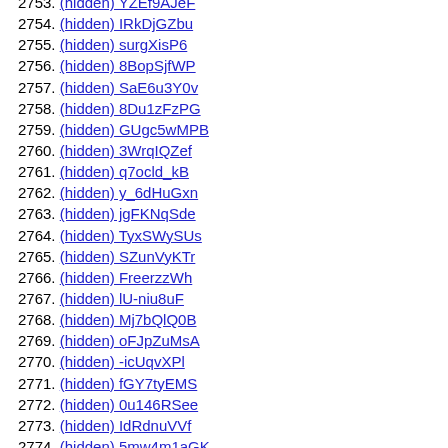2753. (hidden) YZEf9AJeF
2754. (hidden) IRkDjGZbu
2755. (hidden) surgXisP6
2756. (hidden) 8BopSjfWP
2757. (hidden) SaE6u3Y0v
2758. (hidden) 8Du1zFzPG
2759. (hidden) GUgc5wMPB
2760. (hidden) 3WrqIQZef
2761. (hidden) q7ocld_kB
2762. (hidden) y_6dHuGxn
2763. (hidden) jgFKNqSde
2764. (hidden) TyxSWySUs
2765. (hidden) SZunVyKTr
2766. (hidden) FreerzzWh
2767. (hidden) lU-niu8uF
2768. (hidden) Mj7bQlQ0B
2769. (hidden) oFJpZuMsA
2770. (hidden) -icUqvXPl
2771. (hidden) fGY7tyEMS
2772. (hidden) 0u146RSee
2773. (hidden) IdRdnuVVf
2774. (hidden) 5mw4m1aGK
2775. (hidden) nZ-hBbHGU
2776. (hidden) egocKzntT
2777. (hidden) F5bWDMoli